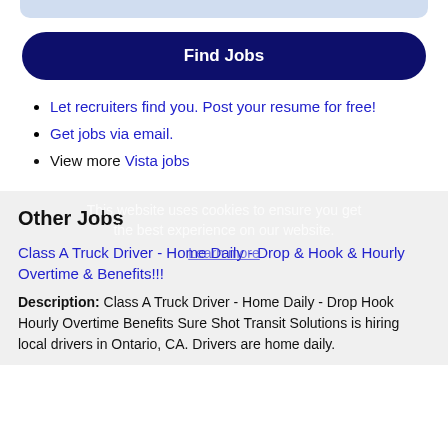[Figure (other): Light blue rounded search bar at top of page]
Find Jobs
Let recruiters find you. Post your resume for free!
Get jobs via email.
View more Vista jobs
Other Jobs
This website uses cookies to ensure you get the best experience on our website. Learn more
Class A Truck Driver - Home Daily - Drop & Hook & Hourly Overtime & Benefits!!!
Description: Class A Truck Driver - Home Daily - Drop Hook Hourly Overtime Benefits Sure Shot Transit Solutions is hiring local drivers in Ontario, CA. Drivers are home daily.